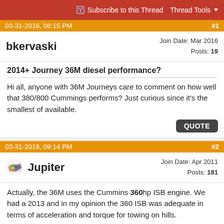Subscribe to this Thread   Thread Tools
03-31-2016, 06:15 PM   #1
bkervaski   Join Date: Mar 2016   Posts: 19
2014+ Journey 36M diesel performance?
Hi all, anyone with 36M Journeys care to comment on how well that 380/800 Cummings performs? Just curious since it's the smallest of available.
QUOTE
03-31-2016, 09:14 PM   #2
Jupiter   Join Date: Apr 2011   Posts: 181
Actually, the 36M uses the Cummins 360hp ISB engine. We had a 2013 and in my opinion the 360 ISB was adequate in terms of acceleration and torque for towing on hills.
Keep in mind that I'm not a power freak. Meaning that I'm satisfied